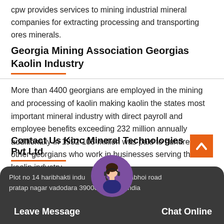cpw provides services to mining industrial mineral companies for extracting processing and transporting ores minerals.
Georgia Mining Association Georgias Kaolin Industry
More than 4400 georgians are employed in the mining and processing of kaolin making kaolin the states most important mineral industry with direct payroll and employee benefits exceeding 232 million annually additionally in 1992 103 million was paid to hundreds of other georgians who work in businesses serving the kaolin industry.
Contact Us Kinc Mineral Technologies Pvt Ltd
Plot no 14 haribhakti industrial estate dabhoi road pratap nagar vadodara 390004 gujarat india
Leave Message
Chat Online